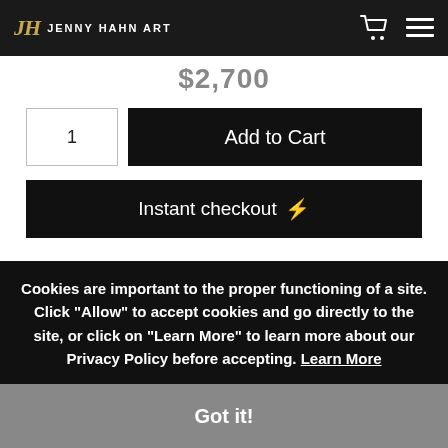JH JENNY HAHN ART
$2,700
1  Add to Cart
Instant checkout ⚡
1. Medium
Smooth Fine Art Paper
Cookies are important to the proper functioning of a site. Click "Allow" to accept cookies and go directly to the site, or click on "Learn More" to learn more about our Privacy Policy before accepting. Learn More
Got it!